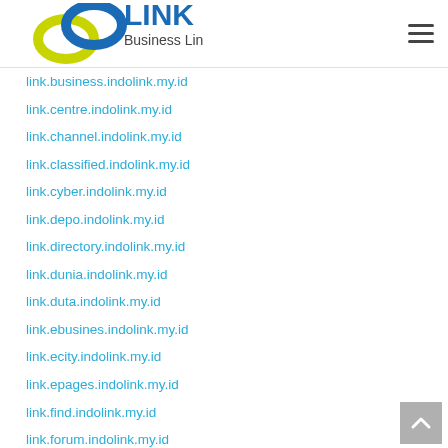[Figure (logo): Indolink Business Link logo with blue and yellow interlocking rings and blue LINK text]
link.business.indolink.my.id
link.centre.indolink.my.id
link.channel.indolink.my.id
link.classified.indolink.my.id
link.cyber.indolink.my.id
link.depo.indolink.my.id
link.directory.indolink.my.id
link.dunia.indolink.my.id
link.duta.indolink.my.id
link.ebusines.indolink.my.id
link.ecity.indolink.my.id
link.epages.indolink.my.id
link.find.indolink.my.id
link.forum.indolink.my.id
link.galeri.indolink.my.id